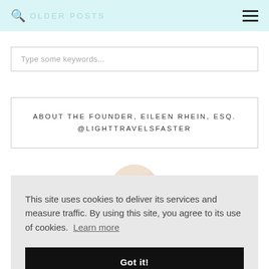OLDER POSTS
Type some keywords...
ABOUT THE FOUNDER, EILEEN RHEIN, ESQ. @LIGHTTRAVELSFASTER
[Figure (photo): Circular profile photo of a smiling woman]
This site uses cookies to deliver its services and measure traffic. By using this site, you agree to its use of cookies. Learn more
Got it!